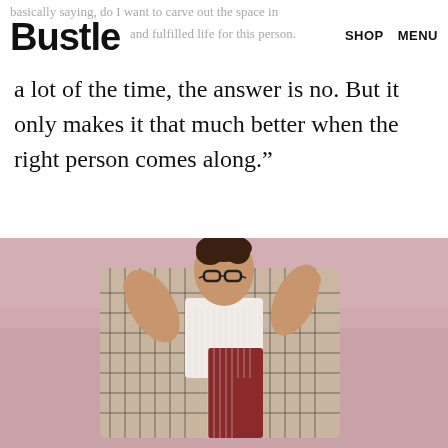basically saying, do I want to carve out the space in my life and fulfilled life for this person. SHOP MENU
a lot of the time, the answer is no. But it only makes it that much better when the right person comes along."
[Figure (photo): Man wearing glasses, a white and red color-block sweater, and a plaid blazer, posing against a pink background with hands raised near his collar.]